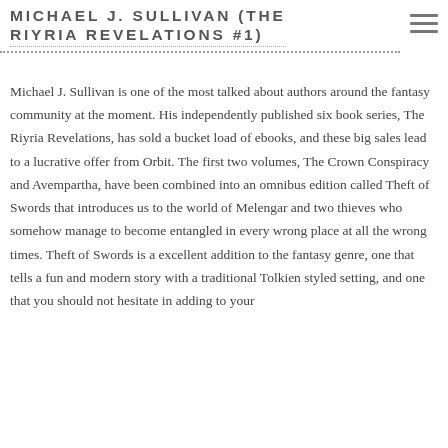MICHAEL J. SULLIVAN (THE RIYRIA REVELATIONS #1)
Michael J. Sullivan is one of the most talked about authors around the fantasy community at the moment. His independently published six book series, The Riyria Revelations, has sold a bucket load of ebooks, and these big sales lead to a lucrative offer from Orbit. The first two volumes, The Crown Conspiracy and Avempartha, have been combined into an omnibus edition called Theft of Swords that introduces us to the world of Melengar and two thieves who somehow manage to become entangled in every wrong place at all the wrong times. Theft of Swords is a excellent addition to the fantasy genre, one that tells a fun and modern story with a traditional Tolkien styled setting, and one that you should not hesitate in adding to your